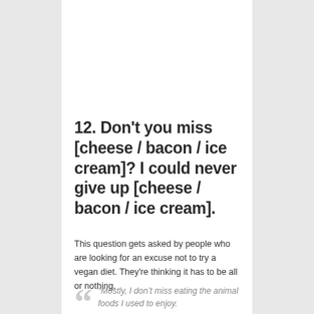12. Don't you miss [cheese / bacon / ice cream]? I could never give up [cheese / bacon / ice cream].
This question gets asked by people who are looking for an excuse not to try a vegan diet. They're thinking it has to be all or nothing.
“Mostly, I don’t miss eating the animal foods I used to enjoy.